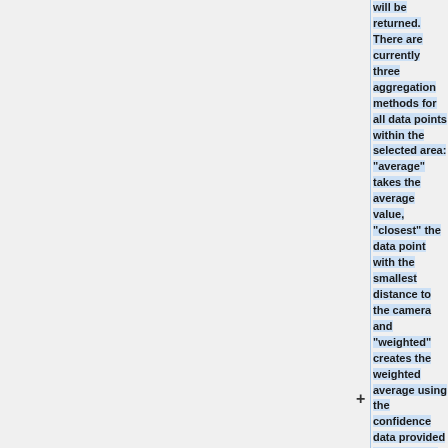will be returned. There are currently three aggregation methods for all data points within the selected area: "average" takes the average value, "closest" the data point with the smallest distance to the camera and "weighted" creates the weighted average using the confidence data provided by each API.